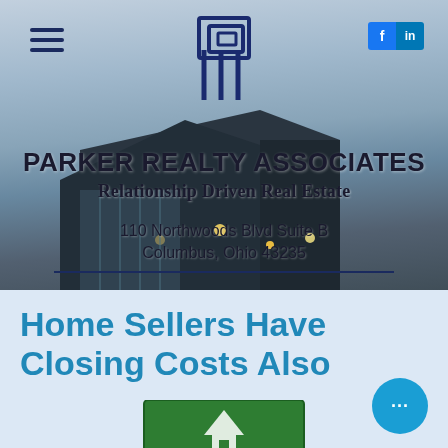[Figure (photo): Background photo of a modern building at dusk with dark angular roof lines and interior lights, overlaid with Parker Realty Associates branding]
PARKER REALTY ASSOCIATES
Relationship Driven Real Estate
110 Northwoods Blvd Suite B
Columbus, Ohio 43235
Home Sellers Have Closing Costs Also
[Figure (illustration): Green real estate for sale sign at the bottom of the page]